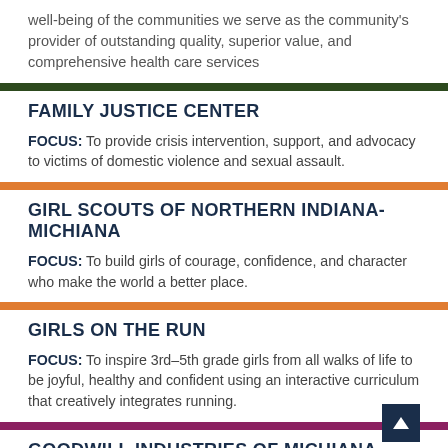well-being of the communities we serve as the community's provider of outstanding quality, superior value, and comprehensive health care services
FAMILY JUSTICE CENTER
FOCUS: To provide crisis intervention, support, and advocacy to victims of domestic violence and sexual assault.
GIRL SCOUTS OF NORTHERN INDIANA-MICHIANA
FOCUS: To build girls of courage, confidence, and character who make the world a better place.
GIRLS ON THE RUN
FOCUS: To inspire 3rd–5th grade girls from all walks of life to be joyful, healthy and confident using an interactive curriculum that creatively integrates running.
GOODWILL INDUSTRIES OF MICHIANA, INC.
FOCUS: To provide jobs, training, and placement services for people